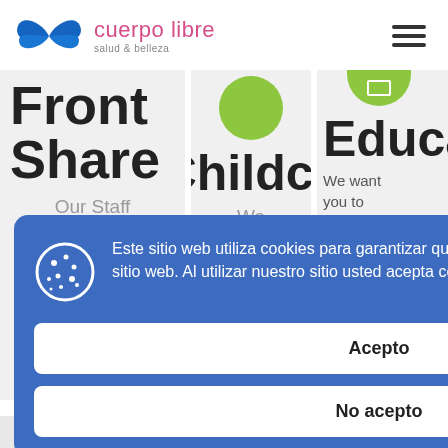[Figure (logo): Cuerpo Libre logo - blue butterfly/bowtie SVG shape with pink text 'cuerpo libre' and grey subtext 'salud & belleza']
[Figure (other): Hamburger menu icon - three horizontal dark bars]
Front Share
Our Staff
Childca
We
Educat
We want you to be the best you possible. If there's something you want to learn,
Este sitio web utiliza cookies para garantizar que obtenga la mejor experiencia en nuestro sitio web. Al utilizar nuestro sitio usted acepta cookies. Más Información
Acepto
No acepto
by
pursuing